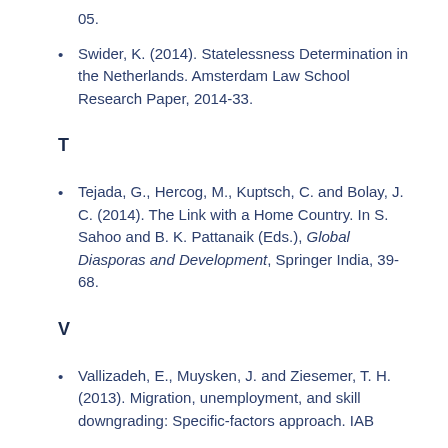05.
Swider, K. (2014). Statelessness Determination in the Netherlands. Amsterdam Law School Research Paper, 2014-33.
T
Tejada, G., Hercog, M., Kuptsch, C. and Bolay, J. C. (2014). The Link with a Home Country. In S. Sahoo and B. K. Pattanaik (Eds.), Global Diasporas and Development, Springer India, 39-68.
V
Vallizadeh, E., Muysken, J. and Ziesemer, T. H. (2013). Migration, unemployment, and skill downgrading: Specific-factors approach. IAB